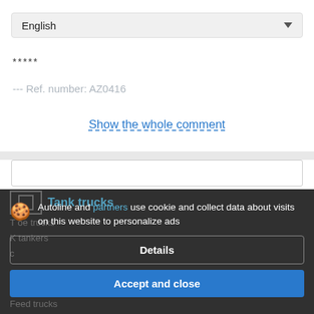English
*****
--- Ref. number: AZ0416
Show the whole comment
Tank trucks
Autoline and partners use cookie and collect data about visits on this website to personalize ads
Details
Accept and close